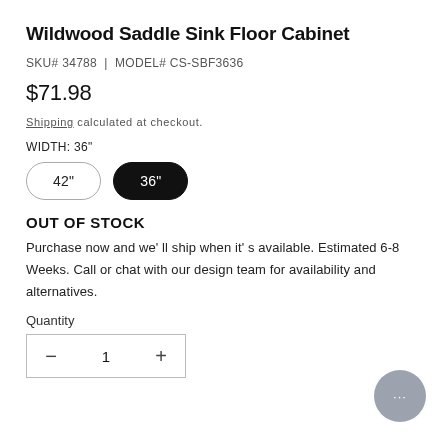Wildwood Saddle Sink Floor Cabinet
SKU# 34788 | MODEL# CS-SBF3636
$71.98
Shipping calculated at checkout.
WIDTH: 36"
42" (unselected option), 36" (selected option)
OUT OF STOCK
Purchase now and we'll ship when it's available. Estimated 6-8 Weeks. Call or chat with our design team for availability and alternatives.
Quantity
1